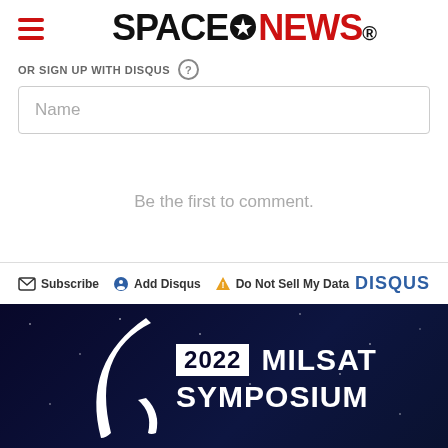SPACENEWS
OR SIGN UP WITH DISQUS
Name
Be the first to comment.
Subscribe  Add Disqus  Do Not Sell My Data  DISQUS
[Figure (illustration): 2022 MILSAT SYMPOSIUM advertisement banner with dark navy background, white swoosh/arc logo, year 2022 in white box, and bold white text reading MILSAT SYMPOSIUM]